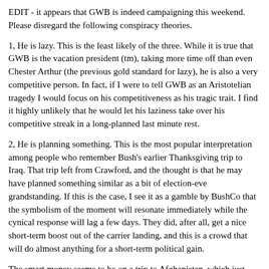EDIT - it appears that GWB is indeed campaigning this weekend. Please disregard the following conspiracy theories.
1, He is lazy. This is the least likely of the three. While it is true that GWB is the vacation president (tm), taking more time off than even Chester Arthur (the previous gold standard for lazy), he is also a very competitive person. In fact, if I were to tell GWB as an Aristotelian tragedy I would focus on his competitiveness as his tragic trait. I find it highly unlikely that he would let his laziness take over his competitive streak in a long-planned last minute rest.
2, He is planning something. This is the most popular interpretation among people who remember Bush's earlier Thanksgiving trip to Iraq. That trip left from Crawford, and the thought is that he may have planned something similar as a bit of election-eve grandstanding. If this is the case, I see it as a gamble by BushCo that the symbolism of the moment will resonate immediately while the cynical response will lag a few days. They did, after all, get a nice short-term boost out of the carrier landing, and this is a crowd that will do almost anything for a short-term political gain.
The smart money seems to be on a trip to Afghanistan, which just completed elections, rather than a trip to the far more dangerous Iraq. In either case, it will be interested to see if he gets a short term boost if he did something like that. The election is...